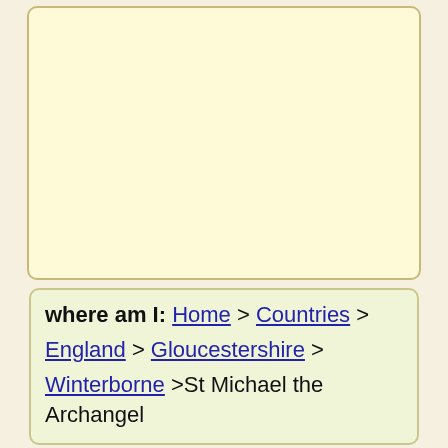[Figure (other): Large empty rounded rectangle box with pale yellow/cream background and tan border, occupying the upper portion of the page.]
where am I: Home > Countries > England > Gloucestershire > Winterborne >St Michael the Archangel
[Figure (other): Partial rounded rectangle box at the bottom of the page, cut off.]